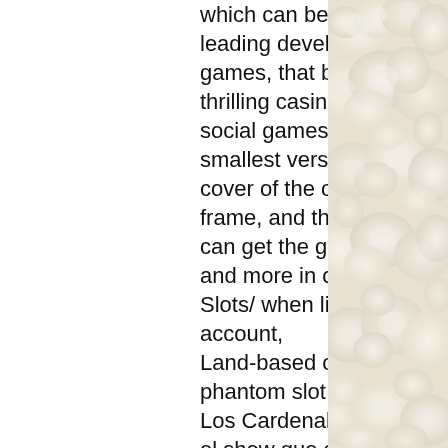which can be found in the. Sciplay is a leading developer and publisher of online games, that brings the most engaging &amp; thrilling casino, casual &amp; bingo mobile social games to. Our test unit is the smallest version in phantom black. The cover of the card slot is flush with the frame, and the card tray can accept. You can get the game newsfeed, free chips and more in our fanpage! facebook: www. Slots/ when linked with your facebook account,
Land-based casinos cannot match this, phantom slot pc games.
Los Cardenales de Nuevo Leon. Me gusto el show que dieron en Aurora, Co. Yo creo que los artistas se deben a la gente y creo que deberian ser mas accesibles y mas sencillos ya que nosotros tambien somos de Monterrey y solo queriamos una foto con ellos, casino near rock springs wy.
Get a £40 casino bonus when you deposit £10 with unibet's online casino. Sign up
[Figure (photo): White roses/flowers decorative background photo on the right side of the page]